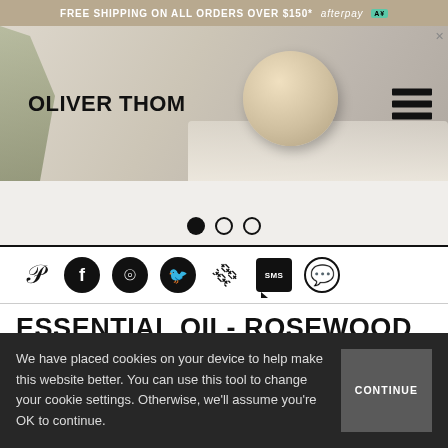FREE SHIPPING ON ALL ORDERS OVER $150* afterpay
[Figure (screenshot): Oliver Thom brand header with hero image showing a scrub ball on a surface, brand logo on left and hamburger menu on right]
[Figure (other): Carousel slider area with three pagination dots, first dot filled]
[Figure (other): Social share icons row: Pinterest, Facebook, Messenger, Twitter, Link, SMS, WhatsApp]
ESSENTIAL OIL- ROSEWOOD + ROSALINA
We have placed cookies on your device to help make this website better. You can use this tool to change your cookie settings. Otherwise, we'll assume you're OK to continue.